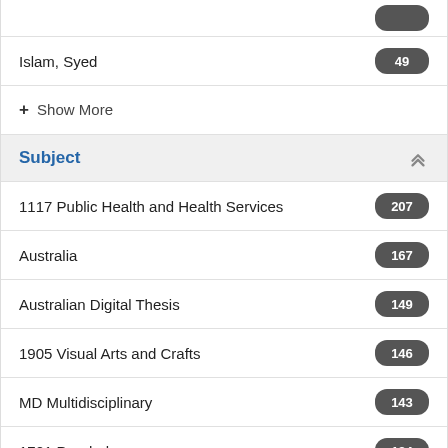Islam, Syed 49
+ Show More
Subject
1117 Public Health and Health Services 207
Australia 167
Australian Digital Thesis 149
1905 Visual Arts and Crafts 146
MD Multidisciplinary 143
1701 Psychology 134
1106 Human Movement and Sports Science 129
1103 Clinical Sciences 125